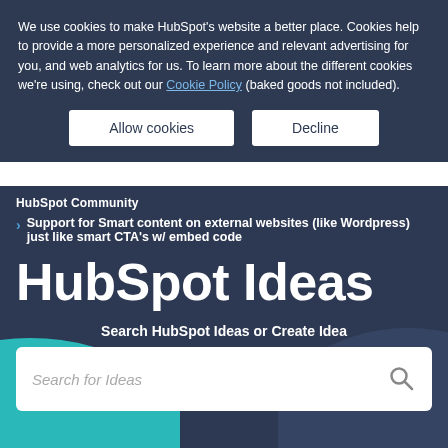We use cookies to make HubSpot's website a better place. Cookies help to provide a more personalized experience and relevant advertising for you, and web analytics for us. To learn more about the different cookies we're using, check out our Cookie Policy (baked goods not included).
Allow cookies
Decline
HubSpot Community
> Support for Smart content on external websites (like Wordpress) just like smart CTA's w/ embed code
HubSpot Ideas
Search HubSpot Ideas or Create Idea
Search for Ideas